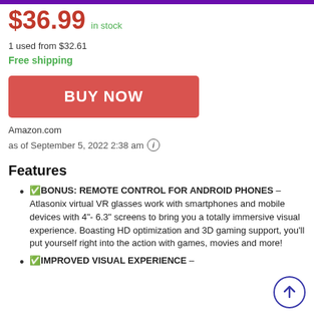$36.99 in stock
1 used from $32.61
Free shipping
[Figure (other): BUY NOW button (red/salmon colored button with white bold text)]
Amazon.com
as of September 5, 2022 2:38 am (i)
Features
✅BONUS: REMOTE CONTROL FOR ANDROID PHONES – Atlasonix virtual VR glasses work with smartphones and mobile devices with 4"- 6.3" screens to bring you a totally immersive visual experience. Boasting HD optimization and 3D gaming support, you'll put yourself right into the action with games, movies and more!
✅IMPROVED VISUAL EXPERIENCE –